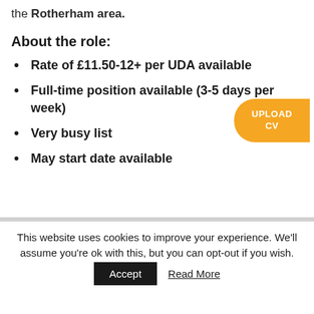the Rotherham area.
About the role:
Rate of £11.50-12+ per UDA available
Full-time position available (3-5 days per week)
Very busy list
May start date available
This website uses cookies to improve your experience. We'll assume you're ok with this, but you can opt-out if you wish.
Accept
Read More